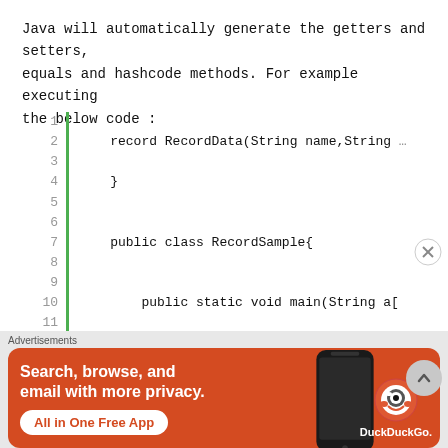Java will automatically generate the getters and setters, equals and hashcode methods. For example executing the below code :
[Figure (screenshot): Code snippet showing Java record and class definition with line numbers 1-13 and a green vertical bar. Lines show: record RecordData(String name,String ..., }, public class RecordSample{, public static void main(String a[, RecordData rec = new RecordDa...]
[Figure (other): DuckDuckGo advertisement banner with orange background showing 'Search, browse, and email with more privacy. All in One Free App' with a phone image and DuckDuckGo logo]